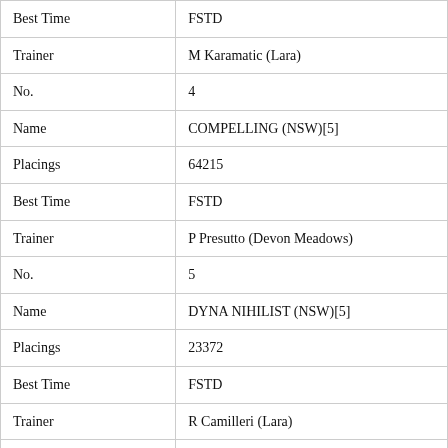| Field | Value |
| --- | --- |
| Best Time | FSTD |
| Trainer | M Karamatic (Lara) |
| No. | 4 |
| Name | COMPELLING (NSW)[5] |
| Placings | 64215 |
| Best Time | FSTD |
| Trainer | P Presutto (Devon Meadows) |
| No. | 5 |
| Name | DYNA NIHILIST (NSW)[5] |
| Placings | 23372 |
| Best Time | FSTD |
| Trainer | R Camilleri (Lara) |
| No. | 6 |
| Name | KING SIZE SHAMBI (WA)[5] |
| Placings | 21752 |
| Best Time | NBT |
| Trainer | G Hansen (Daisy Hill) |